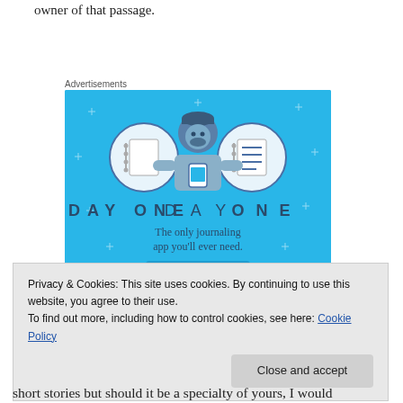owner of that passage.
Advertisements
[Figure (illustration): Day One journaling app advertisement with blue background, cartoon person holding a phone, two notebook icons, text reading 'DAY ONE - The only journaling app you'll ever need.']
Privacy & Cookies: This site uses cookies. By continuing to use this website, you agree to their use.
To find out more, including how to control cookies, see here: Cookie Policy
short stories but should it be a specialty of yours, I would